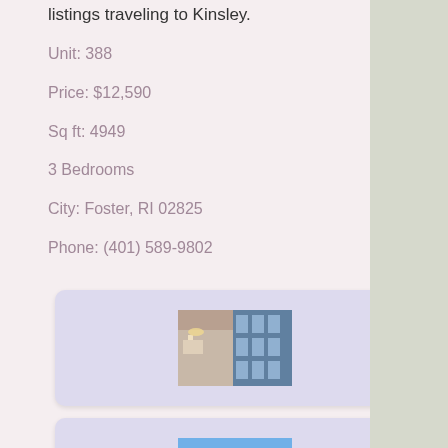listings traveling to Kinsley.
Unit: 388
Price: $12,590
Sq ft: 4949
3 Bedrooms
City: Foster, RI 02825
Phone: (401) 589-9802
[Figure (photo): Photo card 1: building exterior with modern architecture]
[Figure (photo): Photo card 2: modern building with blue sky]
[Figure (photo): Photo card 3: interior or outdoor property photo]